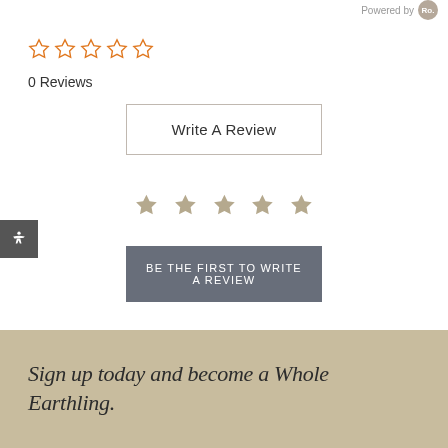Powered by
[Figure (other): Five empty star rating icons in orange/tan outline style]
0 Reviews
Write A Review
[Figure (other): Five large tan/beige solid star icons for rating]
BE THE FIRST TO WRITE A REVIEW
Sign up today and become a Whole Earthling.